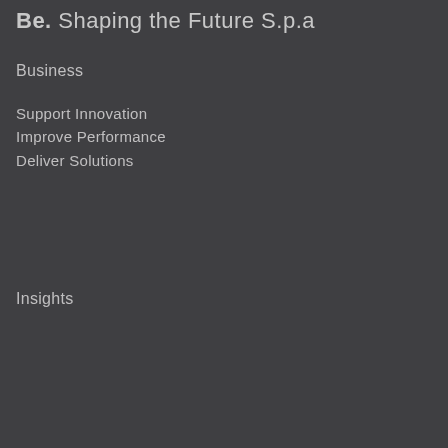Be. Shaping the Future S.p.a
Business
Support Innovation
Improve Performance
Deliver Solutions
Insights